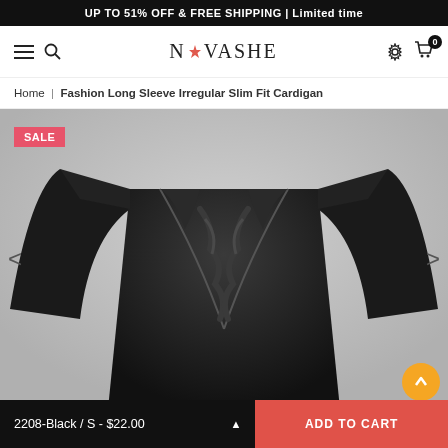UP TO 51% OFF & FREE SHIPPING | Limited time
[Figure (screenshot): Novashe e-commerce website navigation bar with hamburger menu, search icon, Novashe logo with flower icon, settings gear icon, and shopping cart with badge showing 0]
Home | Fashion Long Sleeve Irregular Slim Fit Cardigan
[Figure (photo): Black fashion cardigan with long sleeves, irregular slim fit design, ruffled V-neckline detail, displayed on a white background with a pink SALE badge in the top left corner]
2208-Black / S - $22.00 ▲
ADD TO CART